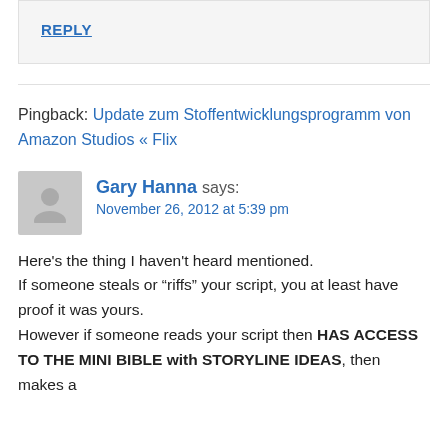REPLY
Pingback: Update zum Stoffentwicklungsprogramm von Amazon Studios « Flix
Gary Hanna says: November 26, 2012 at 5:39 pm
Here's the thing I haven't heard mentioned.
If someone steals or “riffs” your script, you at least have proof it was yours.
However if someone reads your script then HAS ACCESS TO THE MINI BIBLE with STORYLINE IDEAS, then makes a